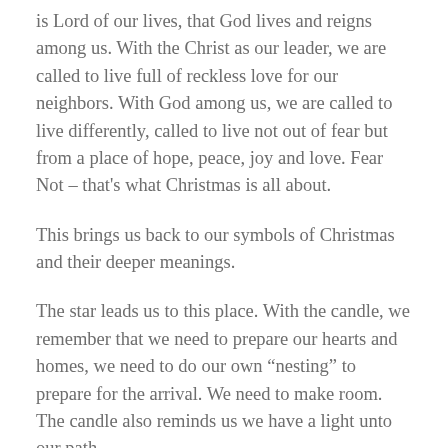is Lord of our lives, that God lives and reigns among us. With the Christ as our leader, we are called to live full of reckless love for our neighbors. With God among us, we are called to live differently, called to live not out of fear but from a place of hope, peace, joy and love. Fear Not – that's what Christmas is all about.
This brings us back to our symbols of Christmas and their deeper meanings.
The star leads us to this place. With the candle, we remember that we need to prepare our hearts and homes, we need to do our own “nesting” to prepare for the arrival. We need to make room. The candle also reminds us we have a light unto our path.
In the Christmas story, Mary and Elizabeth are preparing the way for Christ’s arrival. Even the little town of Bethlehem with its humble manger are “nesting,” getting everything